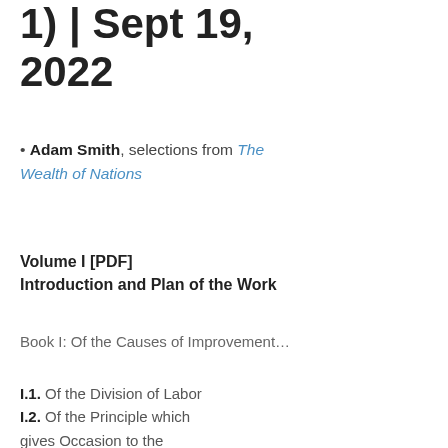1) | Sept 19, 2022
• Adam Smith, selections from The Wealth of Nations
Volume I [PDF] Introduction and Plan of the Work
Book I: Of the Causes of Improvement…
I.1. Of the Division of Labor
I.2. Of the Principle which gives Occasion to the Division of Labour
I.3. That the Division of Labour is Limited by the Extent of the Market
I.4. Of the Origin and Use of Money
I.5 Of the Real and Nominal